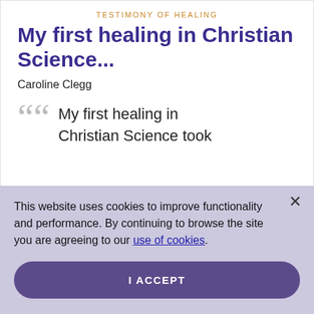TESTIMONY OF HEALING
My first healing in Christian Science...
Caroline Clegg
My first healing in Christian Science took
This website uses cookies to improve functionality and performance. By continuing to browse the site you are agreeing to our use of cookies.
I ACCEPT